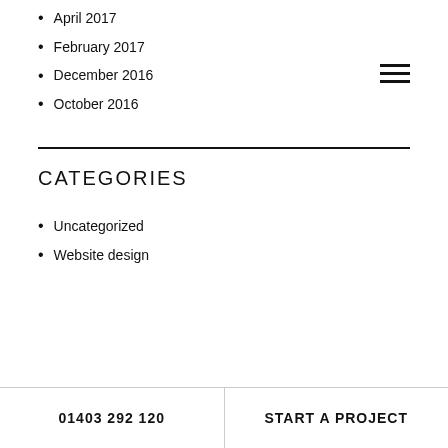April 2017
February 2017
December 2016
October 2016
CATEGORIES
Uncategorized
Website design
01403 292 120   START A PROJECT